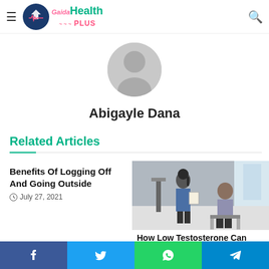Gaida Health PLUS
[Figure (illustration): Circular avatar placeholder with grey silhouette of a person]
Abigayle Dana
Related Articles
Benefits Of Logging Off And Going Outside
July 27, 2021
[Figure (photo): Healthcare professional with clipboard talking to seated patient in medical office]
How Low Testosterone Can